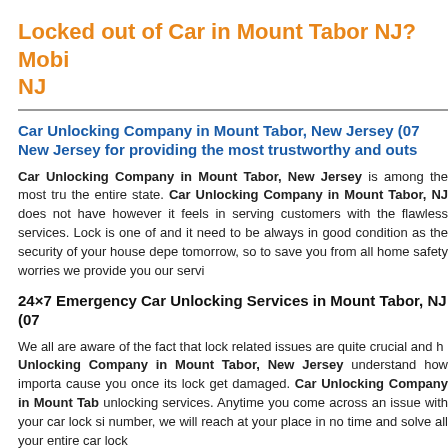Locked out of Car in Mount Tabor NJ? Mobi NJ
Car Unlocking Company in Mount Tabor, New Jersey (07 New Jersey for providing the most trustworthy and outs
Car Unlocking Company in Mount Tabor, New Jersey is among the most tru the entire state. Car Unlocking Company in Mount Tabor, NJ does not have however it feels in serving customers with the flawless services. Lock is one of and it need to be always in good condition as the security of your house depe tomorrow, so to save you from all home safety worries we provide you our servi
24×7 Emergency Car Unlocking Services in Mount Tabor, NJ (07
We all are aware of the fact that lock related issues are quite crucial and h Unlocking Company in Mount Tabor, New Jersey understand how importa cause you once its lock get damaged. Car Unlocking Company in Mount Tab unlocking services. Anytime you come across an issue with your car lock si number, we will reach at your place in no time and solve all your entire car lock
Our distinctive unlocking services at the lowest price range
Car Unlocking Company in Mount Tabor, New Jersey provides you the follo
Open Locked Car
Zip: 07878
Area Code: 973